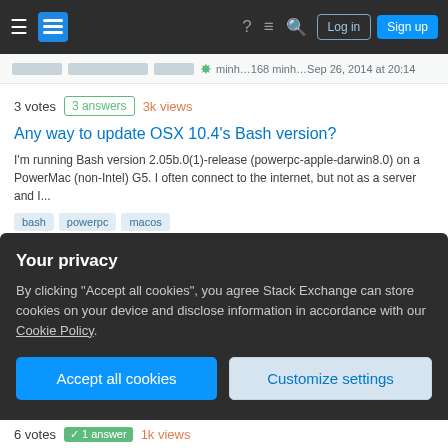Stack Exchange navigation bar with hamburger menu, logo, help, chat, search icons, Log in and Sign up buttons
3 votes  3 answers  3k views
Any way to update OSX 10.4's Bash version?
I'm running Bash version 2.05b.0(1)-release (powerpc-apple-darwin8.0) on a PowerMac (non-Intel) G5. I often connect to the internet, but not as a server and I...
bash  powerpc  macos
Poor Old PPC 31 asked Sep 26, 2014 at 20:33
3 votes  3 answers  2k views
Apple Shellshock patch for 10.6?
Your privacy
By clicking "Accept all cookies", you agree Stack Exchange can store cookies on your device and disclose information in accordance with our Cookie Policy.
Accept all cookies
Customize settings
6 votes  1 answer  1k views